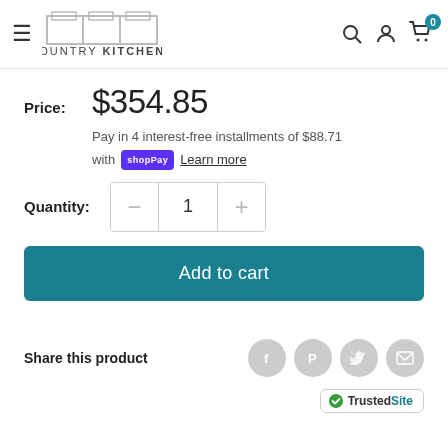Country Kitchens
Price: $354.85
Pay in 4 interest-free installments of $88.71 with Shop Pay Learn more
Quantity: 1
Add to cart
Share this product
[Figure (logo): TrustedSite badge with green checkmark]